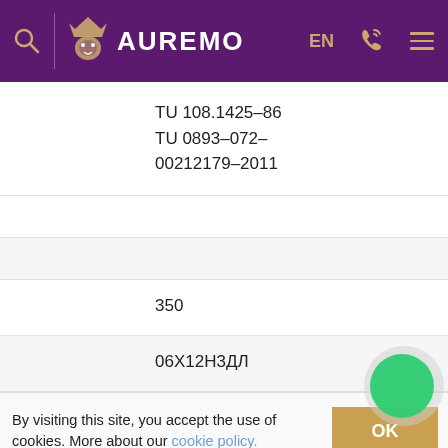AUREMO — EN
TU 108.1425–86
TU 0893–072–
00212179–2011
350
06Х12Н3ДЛ
By visiting this site, you accept the use of cookies. More about our cookie policy.